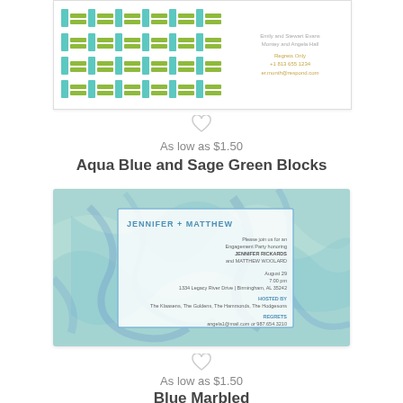[Figure (illustration): Aqua Blue and Sage Green Blocks engagement party invitation card with geometric block pattern on left and olive/gold text on right]
[Figure (illustration): Heart icon separator (gray outline heart)]
As low as $1.50
Aqua Blue and Sage Green Blocks
[Figure (illustration): Blue Marbled engagement party invitation card with swirling teal and blue marble background and white inner card for Jennifer and Matthew]
[Figure (illustration): Heart icon separator (gray outline heart)]
As low as $1.50
Blue Marbled